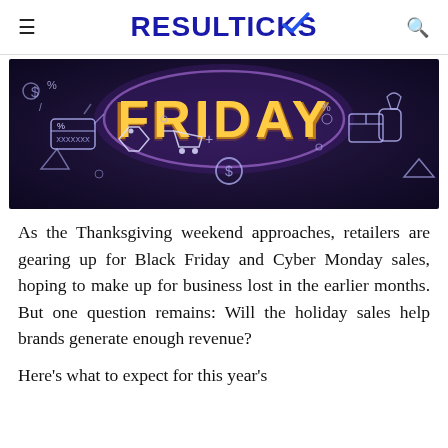RESULTICKS
[Figure (illustration): Black Friday promotional banner with neon-style icons including percent signs, price tags, shopping cart, dollar coin, and the word FRIDAY in glowing orange text on a dark purple/navy background.]
As the Thanksgiving weekend approaches, retailers are gearing up for Black Friday and Cyber Monday sales, hoping to make up for business lost in the earlier months. But one question remains: Will the holiday sales help brands generate enough revenue?
Here’s what to expect for this year’s